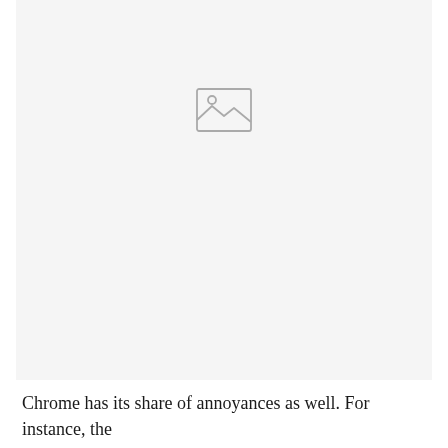[Figure (other): Placeholder image icon (broken/missing image placeholder) showing a landscape icon with mountains and a sun inside a rectangle outline, on a light gray background]
Chrome has its share of annoyances as well. For instance, the